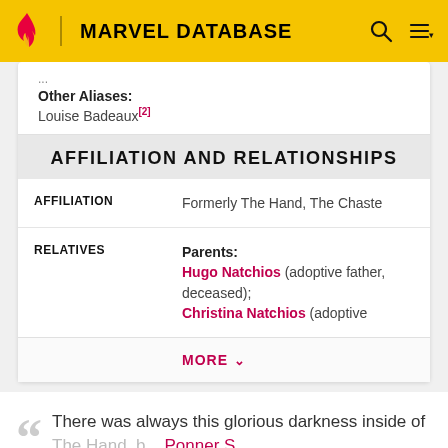MARVEL DATABASE
Other Aliases: Louise Badeaux[2]
AFFILIATION AND RELATIONSHIPS
| Field | Value |
| --- | --- |
| AFFILIATION | Formerly The Hand, The Chaste |
| RELATIVES | Parents: Hugo Natchios (adoptive father, deceased); Christina Natchios (adoptive |
MORE ∨
There was always this glorious darkness inside of